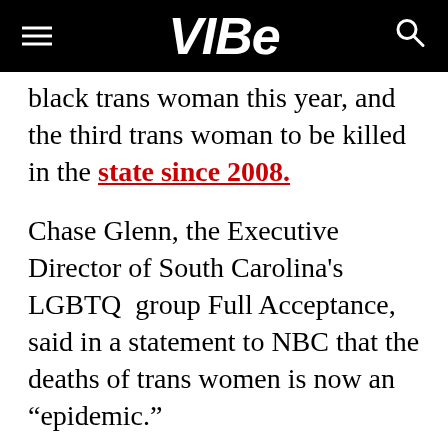VIBE
black trans woman this year, and the third trans woman to be killed in the state since 2008.
Chase Glenn, the Executive Director of South Carolina's LGBTQ group Full Acceptance, said in a statement to NBC that the deaths of trans women is now an “epidemic.”
“While the greater community may be either unaware or disinterested in this news, it is important to understand the epidemic of violence against trans women of color and the crisis point at which we are now and have been for years,” Glenn said. “We refuse to become numb. We will continue to say the names of these women and remember